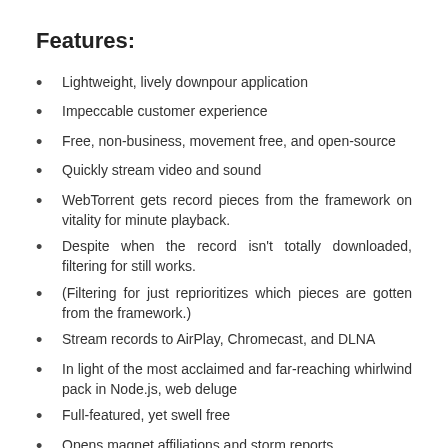Features:
Lightweight, lively downpour application
Impeccable customer experience
Free, non-business, movement free, and open-source
Quickly stream video and sound
WebTorrent gets record pieces from the framework on vitality for minute playback.
Despite when the record isn't totally downloaded, filtering for still works.
(Filtering for just reprioritizes which pieces are gotten from the framework.)
Stream records to AirPlay, Chromecast, and DLNA
In light of the most acclaimed and far-reaching whirlwind pack in Node.js, web deluge
Full-featured, yet swell free
Opens magnet affiliations and storm reports